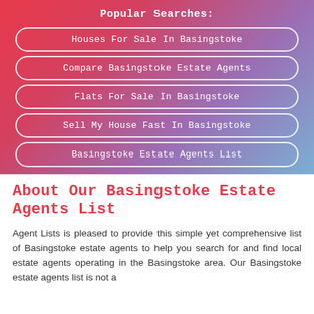Popular Searches:
Houses For Sale In Basingstoke
Compare Basingstoke Estate Agents
Flats For Sale In Basingstoke
Sell My House Fast In Basingstoke
Basingstoke Estate Agents List
About Our Basingstoke Estate Agents List
Agent Lists is pleased to provide this simple yet comprehensive list of Basingstoke estate agents to help you search for and find local estate agents operating in the Basingstoke area. Our Basingstoke estate agents list is not a directory and is not designed to provide you with a standalone list...